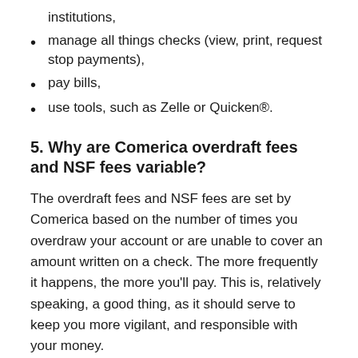institutions,
manage all things checks (view, print, request stop payments),
pay bills,
use tools, such as Zelle or Quicken®.
5. Why are Comerica overdraft fees and NSF fees variable?
The overdraft fees and NSF fees are set by Comerica based on the number of times you overdraw your account or are unable to cover an amount written on a check. The more frequently it happens, the more you'll pay. This is, relatively speaking, a good thing, as it should serve to keep you more vigilant, and responsible with your money.
Whether it be overdraft fees or NSF fees, Comerica Bank will charge you $26 the first time, $34 the second, third, and fourth time, and $38 for the fifth or